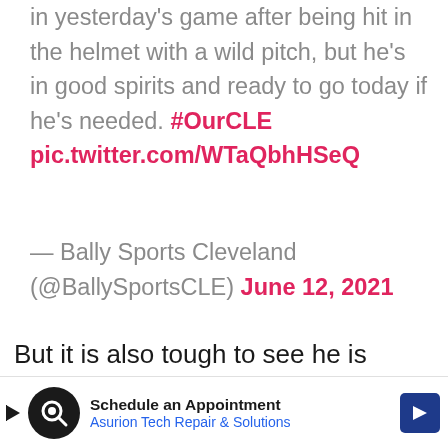in yesterday's game after being hit in the helmet with a wild pitch, but he's in good spirits and ready to go today if he's needed. #OurCLE pic.twitter.com/WTaQbhHSeQ
— Bally Sports Cleveland (@BallySportsCLE) June 12, 2021
But it is also tough to see he is fourth on the team in strikeouts with 40 in only 34 games.
He has struck out in 40 of his 100 at-bats
[Figure (infographic): Advertisement banner: Schedule an Appointment - Asurion Tech Repair & Solutions, with circular logo and blue arrow icon]